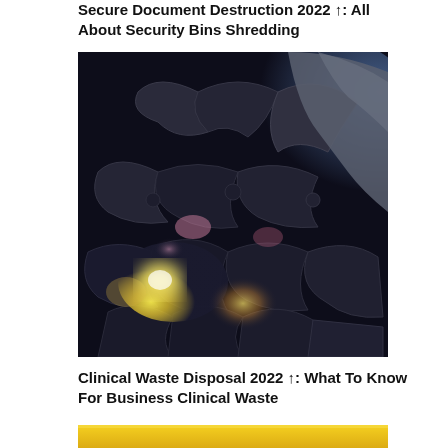Secure Document Destruction 2022 ↑: All About Security Bins Shredding
[Figure (photo): Close-up photo of dark puzzle pieces being assembled, with glowing light effects in purple, pink and yellow-white tones between the pieces. A hand is visible in the upper right placing a piece.]
Clinical Waste Disposal 2022 ↑: What To Know For Business Clinical Waste
[Figure (photo): Bottom portion of an image with a yellow/gold background partially visible at the bottom of the page.]